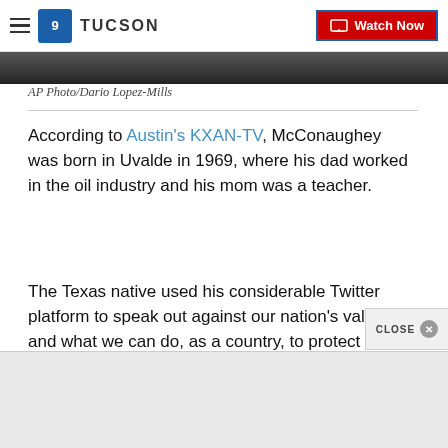9 TUCSON | Watch Now
[Figure (photo): Bottom portion of a news article photo, showing a dark cropped image at the top of the article]
AP Photo/Dario Lopez-Mills
According to Austin's KXAN-TV, McConaughey was born in Uvalde in 1969, where his dad worked in the oil industry and his mom was a teacher.
The Texas native used his considerable Twitter platform to speak out against our nation's values and what we can do, as a country, to protect one another against future acts of violence like this tragedy, which is the 27th school shooting to have happened in 20